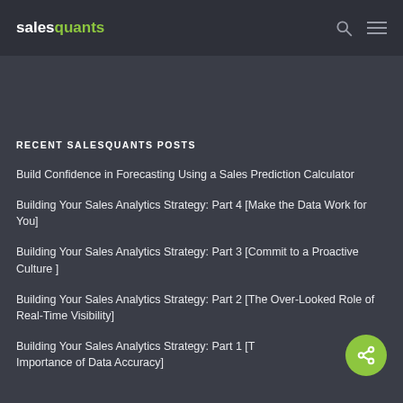salesquants
RECENT SALESQUANTS POSTS
Build Confidence in Forecasting Using a Sales Prediction Calculator
Building Your Sales Analytics Strategy: Part 4 [Make the Data Work for You]
Building Your Sales Analytics Strategy: Part 3 [Commit to a Proactive Culture ]
Building Your Sales Analytics Strategy: Part 2 [The Over-Looked Role of Real-Time Visibility]
Building Your Sales Analytics Strategy: Part 1 [The Importance of Data Accuracy]